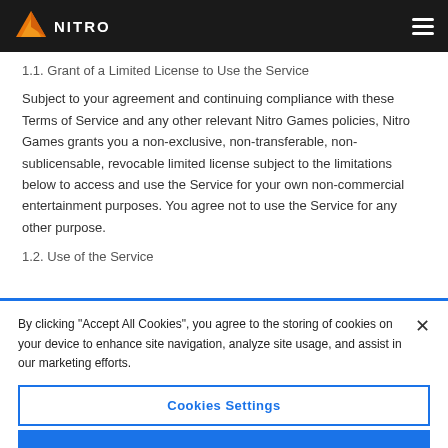NITRO
1.1. Grant of a Limited License to Use the Service
Subject to your agreement and continuing compliance with these Terms of Service and any other relevant Nitro Games policies, Nitro Games grants you a non-exclusive, non-transferable, non-sublicensable, revocable limited license subject to the limitations below to access and use the Service for your own non-commercial entertainment purposes. You agree not to use the Service for any other purpose.
1.2. Use of the Service
By clicking "Accept All Cookies", you agree to the storing of cookies on your device to enhance site navigation, analyze site usage, and assist in our marketing efforts.